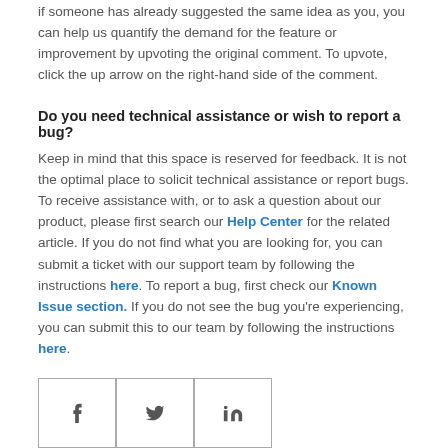if someone has already suggested the same idea as you, you can help us quantify the demand for the feature or improvement by upvoting the original comment. To upvote, click the up arrow on the right-hand side of the comment.
Do you need technical assistance or wish to report a bug?
Keep in mind that this space is reserved for feedback. It is not the optimal place to solicit technical assistance or report bugs. To receive assistance with, or to ask a question about our product, please first search our Help Center for the related article. If you do not find what you are looking for, you can submit a ticket with our support team by following the instructions here. To report a bug, first check our Known Issue section. If you do not see the bug you're experiencing, you can submit this to our team by following the instructions here.
[Figure (other): Social sharing icons: Facebook, Twitter, LinkedIn]
Подписаться
Комментарии